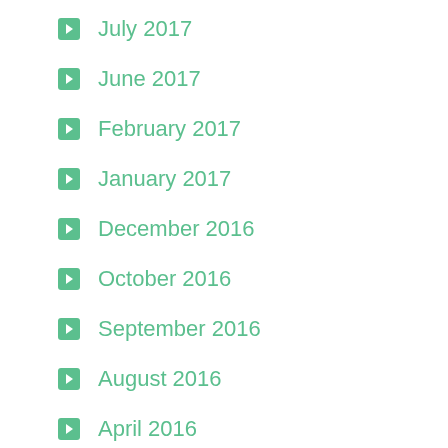July 2017
June 2017
February 2017
January 2017
December 2016
October 2016
September 2016
August 2016
April 2016
February 2016
April 2014